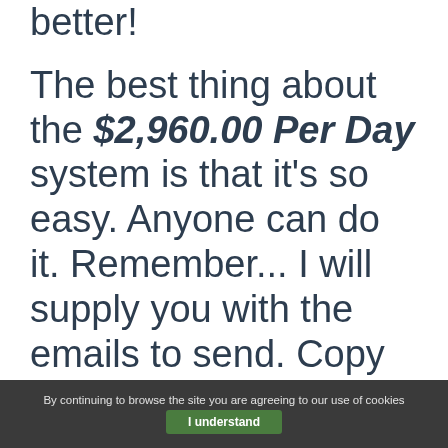you to make things for the better! The best thing about the $2,960.00 Per Day system is that it's so easy.  Anyone can do it. Remember... I will supply you with the emails to send. Copy and paste and click the
By continuing to browse the site you are agreeing to our use of cookies  I understand